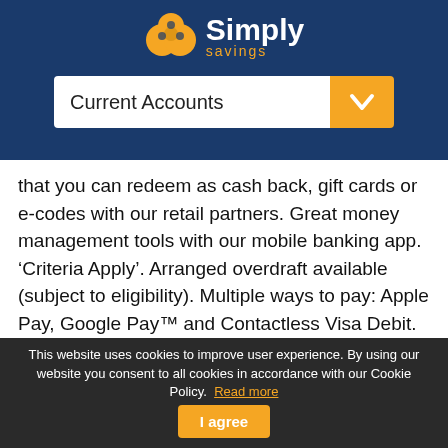[Figure (logo): Simply Savings logo with overlapping circles icon in gold/yellow on dark blue background, with 'Simply' in white bold text and 'savings' in gold text below]
Current Accounts
that you can redeem as cash back, gift cards or e-codes with our retail partners. Great money management tools with our mobile banking app. ‘Criteria Apply’. Arranged overdraft available (subject to eligibility). Multiple ways to pay: Apple Pay, Google Pay™ and Contactless Visa Debit. Must be 18 or older and UK resident. Customers need to pay at least £1,250 into any eligible personal current account every month (excludes transfers between your own accounts). Must not currently hold 2 Reward accounts. £2 monthly fee. Representative example: If you use an arranged overdraft of £1,200 you’ll be charged interest at 39.49% EAR variable.
Mobile App Ban... ac... ount...
This website uses cookies to improve user experience. By using our website you consent to all cookies in accordance with our Cookie Policy. Read more
I agree